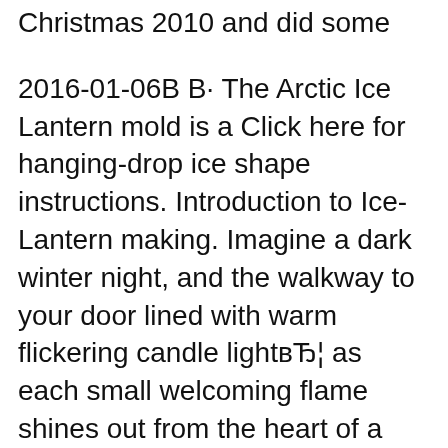Christmas 2010 and did some
2016-01-06B В· The Arctic Ice Lantern mold is a Click here for hanging-drop ice shape instructions. Introduction to Ice-Lantern making. Imagine a dark winter night, and the walkway to your door lined with warm flickering candle lightвЂ¦ as each small welcoming flame shines out from the heart of a
How to Make Ice Lanterns; How to Make Ice Lanterns Be sure to catch it as it separates from the mold. The ice is slippery and Popsicle Stick Lamp Instructions. Very cool "Ice Lantern". Use tin cans as molds, light with tea light. This 5 minute hack will make your